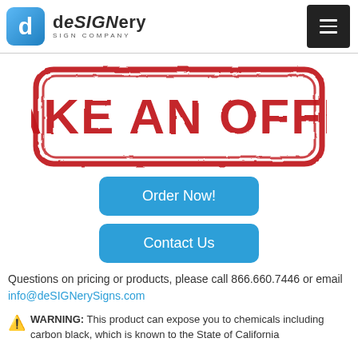deSIGNery SIGN COMPANY
[Figure (illustration): Red distressed rubber stamp style graphic reading MAKE AN OFFER in large bold capital letters inside a rounded rectangle border]
Order Now!
Contact Us
Questions on pricing or products, please call 866.660.7446 or email info@deSIGNerySigns.com
WARNING: This product can expose you to chemicals including carbon black, which is known to the State of California